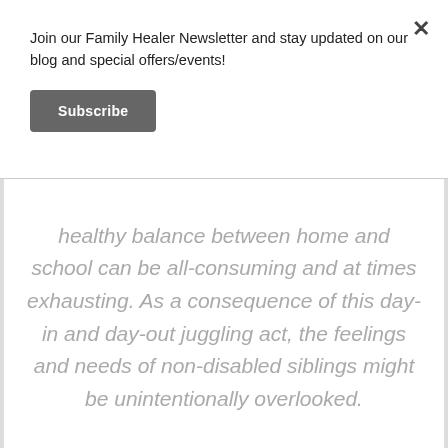Join our Family Healer Newsletter and stay updated on our blog and special offers/events!
Subscribe
healthy balance between home and school can be all-consuming and at times exhausting. As a consequence of this day-in and day-out juggling act, the feelings and needs of non-disabled siblings might be unintentionally overlooked.